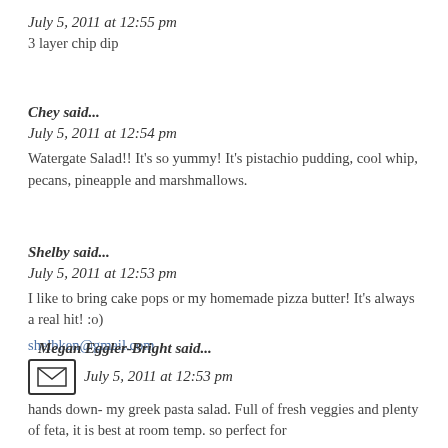July 5, 2011 at 12:55 pm
3 layer chip dip
Chey said...
July 5, 2011 at 12:54 pm
Watergate Salad!! It's so yummy! It's pistachio pudding, cool whip, pecans, pineapple and marshmallows.
Shelby said...
July 5, 2011 at 12:53 pm
I like to bring cake pops or my homemade pizza butter! It's always a real hit! :o)
shelbken@gmail.com
Megan Eggler-Bright said...
July 5, 2011 at 12:53 pm
hands down- my greek pasta salad. Full of fresh veggies and plenty of feta, it is best at room temp. so perfect for